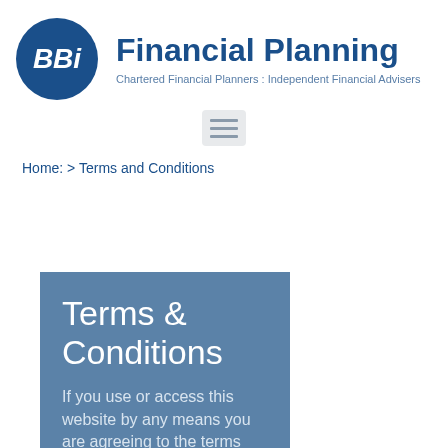[Figure (logo): BBi Financial Planning logo: blue circle with white italic BBi text, followed by 'Financial Planning' in large blue bold text and tagline 'Chartered Financial Planners : Independent Financial Advisers']
[Figure (other): Hamburger menu icon (three horizontal bars) on a light grey background]
Home: > Terms and Conditions
Terms & Conditions
If you use or access this website by any means you are agreeing to the terms